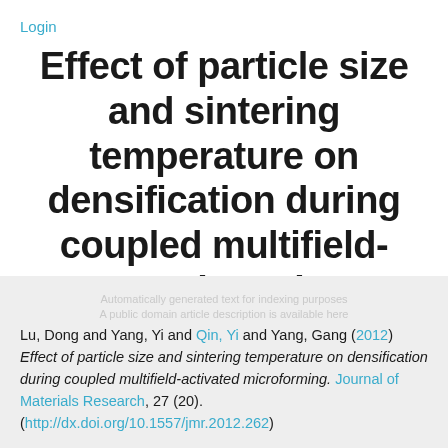Login
Effect of particle size and sintering temperature on densification during coupled multifield-activated microforming
Lu, Dong and Yang, Yi and Qin, Yi and Yang, Gang (2012) Effect of particle size and sintering temperature on densification during coupled multifield-activated microforming. Journal of Materials Research, 27 (20). (http://dx.doi.org/10.1557/jmr.2012.262)